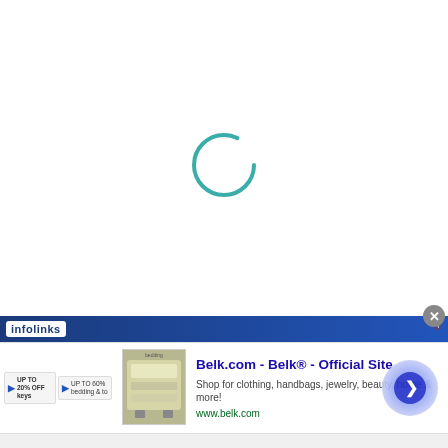[Figure (other): Web browser loading spinner — a teal/cyan circular arc (approximately 3/4 of a circle) indicating page loading state, centered on a white background.]
[Figure (other): Infolinks advertisement bar at the bottom of the page. Contains the Infolinks logo banner in dark blue, a close button circle, and a Belk.com advertisement with title 'Belk.com - Belk® - Official Site', description 'Shop for clothing, handbags, jewelry, beauty, home & more!', URL 'www.belk.com', a product image of bedding, two small ad item boxes on the left, and a blue circular arrow navigation button on the right.]